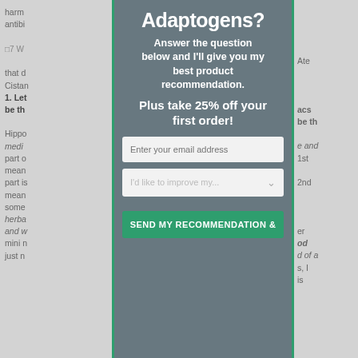harm... antibi...
[Figure (screenshot): Background page content partially obscured by modal overlay, showing article text about adaptogens with partial sentences visible.]
Adaptogens?
Answer the question below and I'll give you my best product recommendation.
Plus take 25% off your first order!
Enter your email address
I'd like to improve my...
SEND MY RECOMMENDATION &